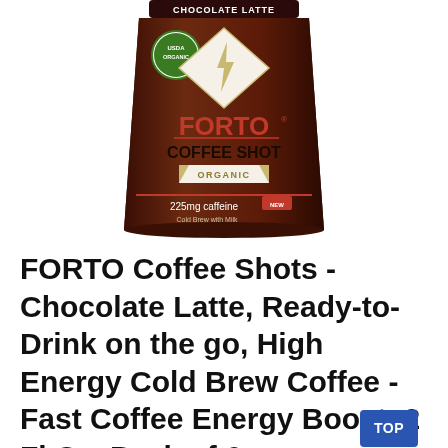[Figure (photo): FORTO Coffee Shot Chocolate Latte product photo — a brown cup/container with USDA Organic seal, lightning bolt diamond logo, FORTO COFFEE SHOT branding in red/dark text, ORGANIC label, 225mg caffeine, Cold Brew with Milk, 2 fl oz (60ml)]
FORTO Coffee Shots - Chocolate Latte, Ready-to-Drink on the go, High Energy Cold Brew Coffee - Fast Coffee Energy Boost, 2 Fl Oz, Pack of 6